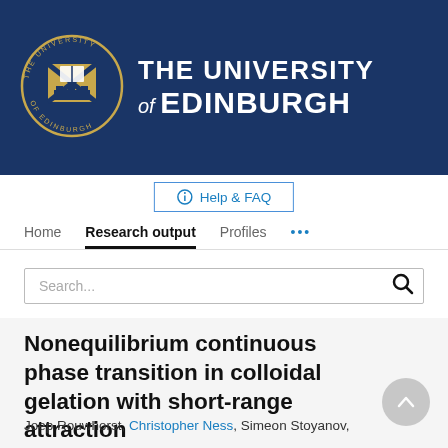[Figure (logo): University of Edinburgh logo with crest and text: THE UNIVERSITY of EDINBURGH on dark navy background]
Help & FAQ
Home | Research output | Profiles | ...
Search...
Nonequilibrium continuous phase transition in colloidal gelation with short-range attraction
Joep Rouwhorst, Christopher Ness, Simeon Stoyanov,